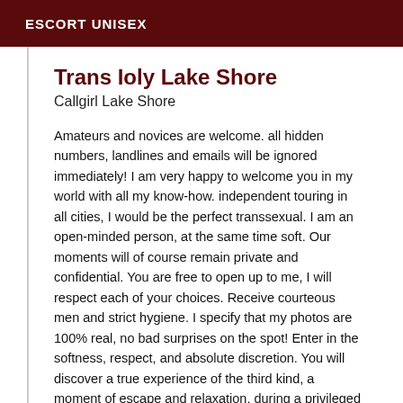ESCORT UNISEX
Trans Ioly Lake Shore
Callgirl Lake Shore
Amateurs and novices are welcome. all hidden numbers, landlines and emails will be ignored immediately! I am very happy to welcome you in my world with all my know-how. independent touring in all cities, I would be the perfect transsexual. I am an open-minded person, at the same time soft. Our moments will of course remain private and confidential. You are free to open up to me, I will respect each of your choices. Receive courteous men and strict hygiene. I specify that my photos are 100% real, no bad surprises on the spot! Enter in the softness, respect, and absolute discretion. You will discover a true experience of the third kind, a moment of escape and relaxation, during a privileged meeting, in